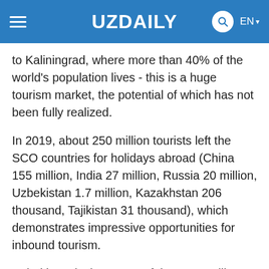UZ DAILY — EN
to Kaliningrad, where more than 40% of the world's population lives - this is a huge tourism market, the potential of which has not been fully realized.
In 2019, about 250 million tourists left the SCO countries for holidays abroad (China 155 million, India 27 million, Russia 20 million, Uzbekistan 1.7 million, Kazakhstan 206 thousand, Tajikistan 31 thousand), which demonstrates impressive opportunities for inbound tourism.
Uzbekistan is the center of the Great Silk Road, has attracted the attention of travelers from all over the world since ancient times and is recognized as one of the most attractive and intriguing destinations by many foreign publications. The country occupies ever